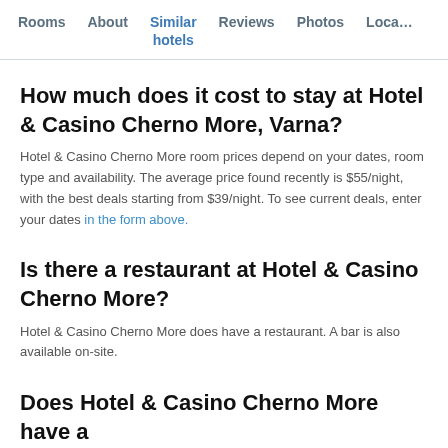Rooms   About   Similar hotels   Reviews   Photos   Loca…
How much does it cost to stay at Hotel & Casino Cherno More, Varna?
Hotel & Casino Cherno More room prices depend on your dates, room type and availability. The average price found recently is $55/night, with the best deals starting from $39/night. To see current deals, enter your dates in the form above.
Is there a restaurant at Hotel & Casino Cherno More?
Hotel & Casino Cherno More does have a restaurant. A bar is also available on-site.
Does Hotel & Casino Cherno More have a